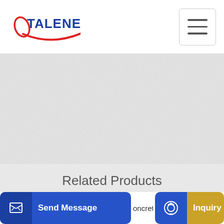[Figure (logo): Talenet logo with red swoosh and blue text]
[Figure (other): Hamburger menu button (three horizontal lines)]
[Figure (photo): Background image of concrete or construction material, light gray textured]
Related Products
h Hydraulic concrete pump hand concrete pump concrete pump
1999 Mack RD690S Mixer Ready Mix Concrete Truck For
oncret
[Figure (other): Send Message button with document icon]
[Figure (other): Inquiry Online button with headset icon]